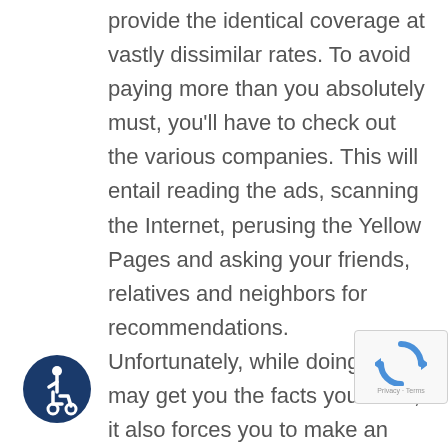provide the identical coverage at vastly dissimilar rates. To avoid paying more than you absolutely must, you'll have to check out the various companies. This will entail reading the ads, scanning the Internet, perusing the Yellow Pages and asking your friends, relatives and neighbors for recommendations. Unfortunately, while doing all this may get you the facts you need, it also forces you to make an effort while expending time that you may not have to waste.

Luckily, there is an easier way. At All Kinds of Insurance, we do the legwork for you. All you have to do is tell us what you require